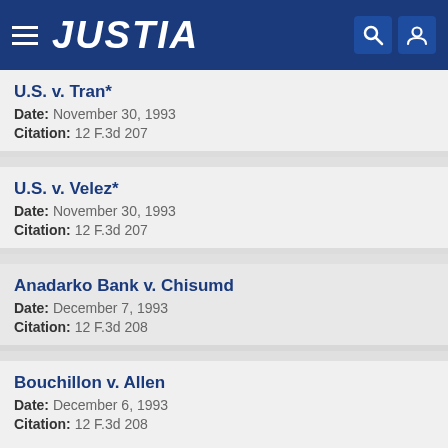JUSTIA
U.S. v. Tran* — Date: November 30, 1993 — Citation: 12 F.3d 207
U.S. v. Velez* — Date: November 30, 1993 — Citation: 12 F.3d 207
Anadarko Bank v. Chisumd — Date: December 7, 1993 — Citation: 12 F.3d 208
Bouchillon v. Allen — Date: December 6, 1993 — Citation: 12 F.3d 208